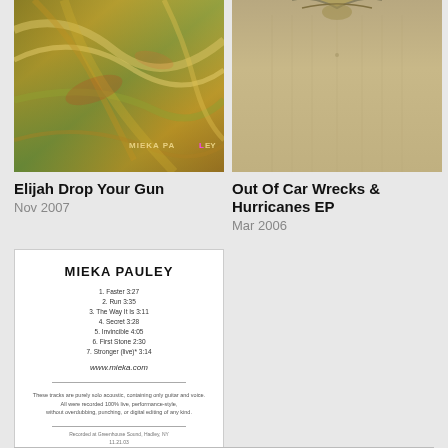[Figure (photo): Album cover art for Elijah Drop Your Gun — abstract painting with green, gold, and earthy tones, signed MIEKA PAULEY]
Elijah Drop Your Gun
Nov 2007
[Figure (photo): Album cover art for Out Of Car Wrecks & Hurricanes EP — beige/tan textured background with decorative top element]
Out Of Car Wrecks & Hurricanes EP
Mar 2006
[Figure (photo): Album cover art for Acoustic EP — white background with MIEKA PAULEY title and track listing: 1. Faster 3:27, 2. Run 3:35, 3. The Way It Is 3:11, 4. Secret 3:28, 5. Invincible 4:05, 6. First Stone 2:30, 7. Stronger (live)* 3:14, www.mieka.com, notes about purely solo acoustic tracks recorded 100% live]
Acoustic EP
Nov 2003